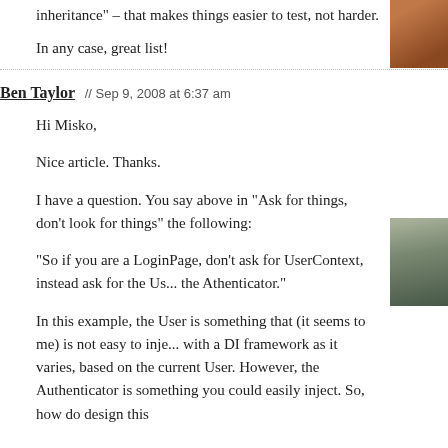inheritance" – that makes things easier to test, not harder.
In any case, great list!
Ben Taylor // Sep 9, 2008 at 6:37 am
Hi Misko,
Nice article. Thanks.
I have a question. You say above in “Ask for things, don’t look for things” the following:
“So if you are a LoginPage, don’t ask for UserContext, instead ask for the Us... the Athenticator.”
In this example, the User is something that (it seems to me) is not easy to inje... with a DI framework as it varies, based on the current User. However, the Authenticator is something you could easily inject. So, how do design this